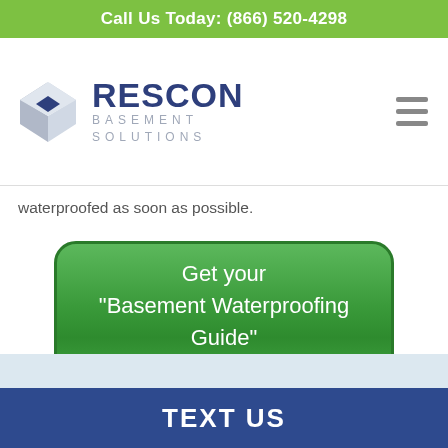Call Us Today: (866) 520-4298
[Figure (logo): Rescon Basement Solutions logo with stylized 3D box icon and company name]
waterproofed as soon as possible.
[Figure (other): Green CTA button reading: Get your "Basement Waterproofing Guide" Today]
TEXT US